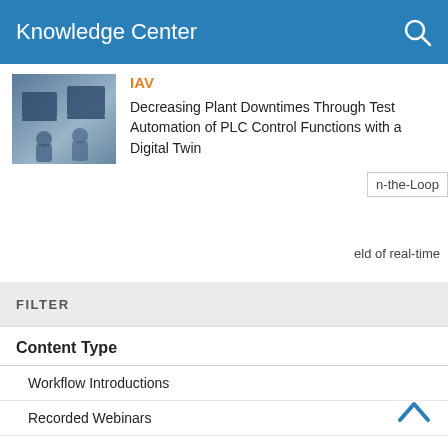Knowledge Center
[Figure (photo): Two people working at computer workstations with monitors]
IAV
Decreasing Plant Downtimes Through Test Automation of PLC Control Functions with a Digital Twin
FILTER
Content Type
Workflow Introductions   3
Recorded Webinars   20
How To   0
Industry Use Cases   51
✔ Success Stories   15
Reference Applications   6
✔ Whitepapers   2